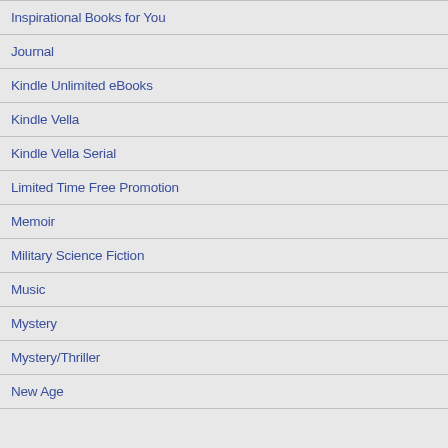Inspirational Books for You
Journal
Kindle Unlimited eBooks
Kindle Vella
Kindle Vella Serial
Limited Time Free Promotion
Memoir
Military Science Fiction
Music
Mystery
Mystery/Thriller
New Age